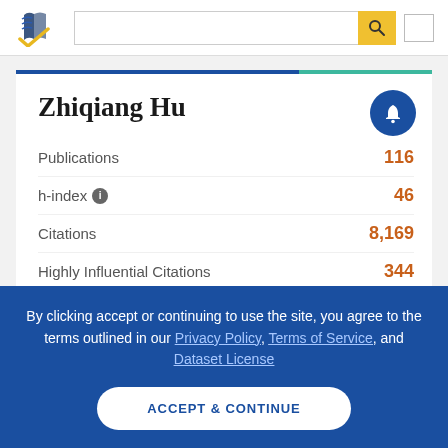Semantic Scholar header with logo and search bar
Zhiqiang Hu
| Metric | Value |
| --- | --- |
| Publications | 116 |
| h-index | 46 |
| Citations | 8,169 |
| Highly Influential Citations | 344 |
By clicking accept or continuing to use the site, you agree to the terms outlined in our Privacy Policy, Terms of Service, and Dataset License
ACCEPT & CONTINUE